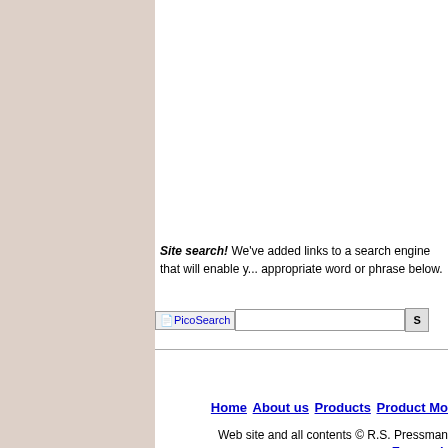[Figure (other): Left navigation panel with beige/pinkish-tan background color]
Site search! We've added links to a search engine that will enable you to search this site by entering the appropriate word or phrase below.
[Figure (other): PicoSearch logo image with search input box and Search button]
Home About us Products Product Mo...
Web site and all contents © R.S. Pressman...
Free web...